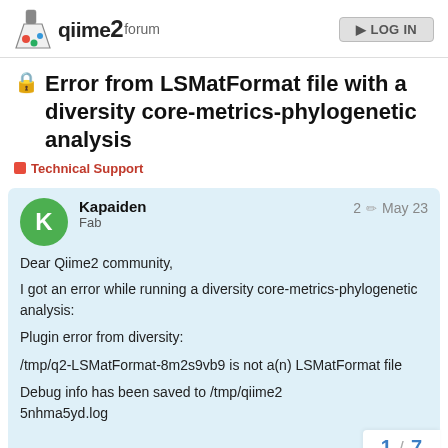qiime2 forum | Log In
🔒 Error from LSMatFormat file with a diversity core-metrics-phylogenetic analysis
Technical Support
Kapaiden
Fab
2 ✏ May 23

Dear Qiime2 community,
I got an error while running a diversity core-metrics-phylogenetic analysis:

Plugin error from diversity:

/tmp/q2-LSMatFormat-8m2s9vb9 is not a(n) LSMatFormat file

Debug info has been saved to /tmp/qiime2
5nhma5yd.log
1 / 7